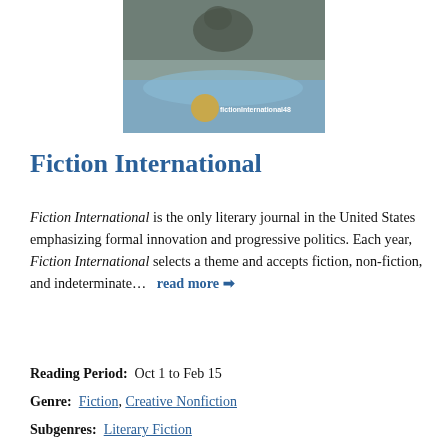[Figure (photo): Book cover of Fiction International issue 48, showing an animal (possibly a wolf or fox) in a snowy/icy scene with a golden circular badge and the text 'fictionInternational48']
Fiction International
Fiction International is the only literary journal in the United States emphasizing formal innovation and progressive politics. Each year, Fiction International selects a theme and accepts fiction, non-fiction, and indeterminate...   read more ➔
Reading Period:  Oct 1 to Feb 15
Genre:  Fiction, Creative Nonfiction
Subgenres:  Literary Fiction